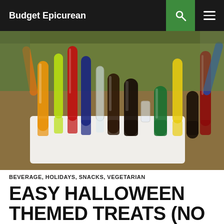Budget Epicurean
[Figure (photo): Photo of colorful liquid-filled test tubes in a white styrofoam holder, arranged as Halloween themed drink shots with red, orange, yellow, green, blue and dark colored liquids]
BEVERAGE, HOLIDAYS, SNACKS, VEGETARIAN
EASY HALLOWEEN THEMED TREATS (NO TRICKS!)